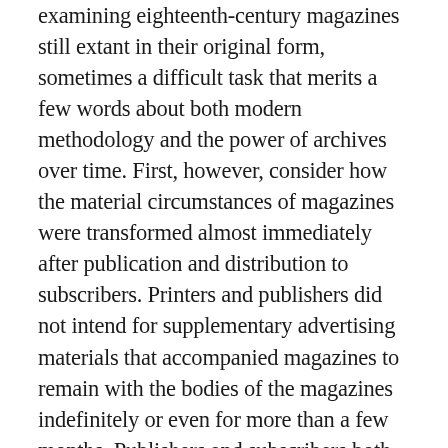examining eighteenth-century magazines still extant in their original form, sometimes a difficult task that merits a few words about both modern methodology and the power of archives over time. First, however, consider how the material circumstances of magazines were transformed almost immediately after publication and distribution to subscribers. Printers and publishers did not intend for supplementary advertising materials that accompanied magazines to remain with the bodies of the magazines indefinitely or even for more than a few months. Publishers and subscribers both understood that once an entire volume, typically six issues over that many months, had been published that the